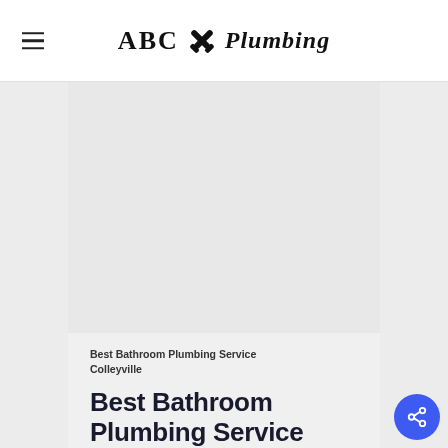ABC Plumbing
[Figure (photo): Light gray rectangular image placeholder area for bathroom plumbing service photo]
Best Bathroom Plumbing Service Colleyville
Best Bathroom Plumbing Service